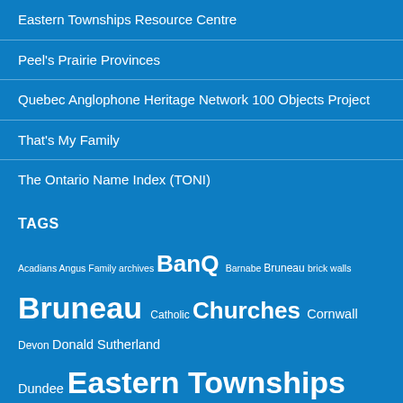Eastern Townships Resource Centre
Peel's Prairie Provinces
Quebec Anglophone Heritage Network 100 Objects Project
That's My Family
The Ontario Name Index (TONI)
TAGS
Acadians Angus Family archives BanQ Barnabe Bruneau brick walls Bruneau Catholic Churches Cornwall Devon Donald Sutherland Dundee Eastern Townships education Edward McHugh England family history France french-canadian french-canadians French Protestant French Protestants fur trade Gaspé genealogy genealogy societies German churches Greece grenfell international history Immigration Irish Ismael Bruneau